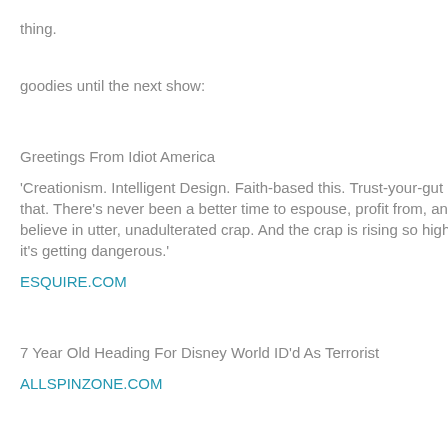thing.
goodies until the next show:
Greetings From Idiot America
'Creationism. Intelligent Design. Faith-based this. Trust-your-gut that. There's never been a better time to espouse, profit from, and believe in utter, unadulterated crap. And the crap is rising so high, it's getting dangerous.'
ESQUIRE.COM
7 Year Old Heading For Disney World ID'd As Terrorist
ALLSPINZONE.COM